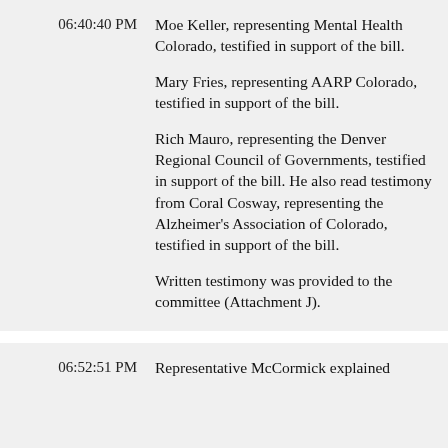06:40:40 PM
Moe Keller, representing Mental Health Colorado, testified in support of the bill. Mary Fries, representing AARP Colorado, testified in support of the bill. Rich Mauro, representing the Denver Regional Council of Governments, testified in support of the bill. He also read testimony from Coral Cosway, representing the Alzheimer's Association of Colorado, testified in support of the bill. Written testimony was provided to the committee (Attachment J).
06:52:51 PM
Representative McCormick explained